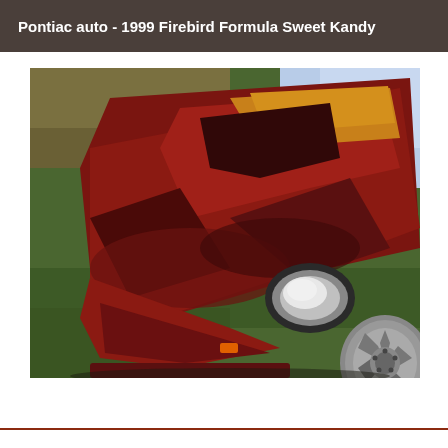Pontiac auto - 1999 Firebird Formula Sweet Kandy
[Figure (photo): Close-up front view of a 1999 Pontiac Firebird Formula in a deep candy red/burgundy metallic paint, shot from a low angle on green grass, showing the hood, front bumper, headlights, and one alloy wheel]